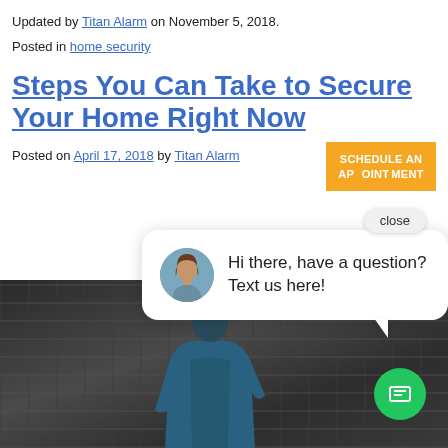Updated by Titan Alarm on November 5, 2018.
Posted in home security
Steps You Can Take to Secure Your Home Right Now
Posted on April 17, 2018 by Titan Alarm
[Figure (screenshot): Orange 'SCHEDULE AN APPOINTMENT' button partially visible with a 'close' pill button overlay]
[Figure (photo): Chat popup with avatar of a woman and text 'Hi there, have a question? Text us here!' overlaid on a dark grayscale photo background showing a person in a blue hoodie near a brick wall with a green chat icon button in the lower right]
[Figure (photo): Dark grayscale background photo showing a person in a blue hoodie near a brick wall and window]